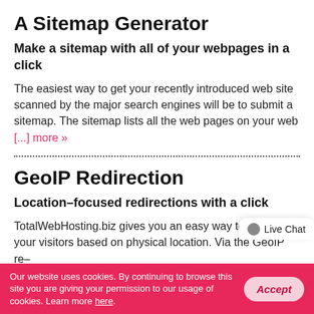A Sitemap Generator
Make a sitemap with all of your webpages in a click
The easiest way to get your recently introduced web site scanned by the major search engines will be to submit a sitemap. The sitemap lists all the web pages on your web [...] more »
GeoIP Redirection
Location–focused redirections with a click
TotalWebHosting.biz gives you an easy way to redirect your visitors based on physical location. Via the GeoIP re–
Our website uses cookies. By continuing to browse this site you are giving your permission to our usage of cookies. Learn more here.